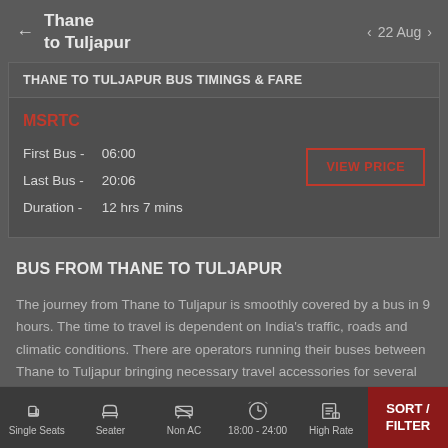← Thane to Tuljapur   < 22 Aug >
| Field | Value |
| --- | --- |
| THANE TO TULJAPUR BUS TIMINGS & FARE |  |
| MSRTC |  |
| First Bus - | 06:00 |
| Last Bus - | 20:06 |
| Duration - | 12 hrs 7 mins |
|  | VIEW PRICE |
BUS FROM THANE TO TULJAPUR
The journey from Thane to Tuljapur is smoothly covered by a bus in 9 hours. The time to travel is dependent on India's traffic, roads and climatic conditions. There are operators running their buses between Thane to Tuljapur bringing necessary travel accessories for several people
Single Seats | Seater | Non AC | 18:00 - 24:00 | High Rate | SORT / FILTER